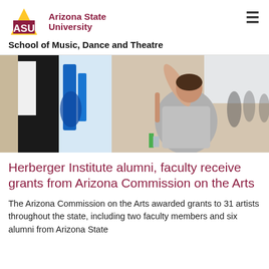ASU Arizona State University — School of Music, Dance and Theatre
[Figure (photo): A woman in a grey t-shirt reaches up to paint or arrange a large blue and black abstract canvas artwork in a bright gallery setting, with other people visible in the background.]
Herberger Institute alumni, faculty receive grants from Arizona Commission on the Arts
The Arizona Commission on the Arts awarded grants to 31 artists throughout the state, including two faculty members and six alumni from Arizona State